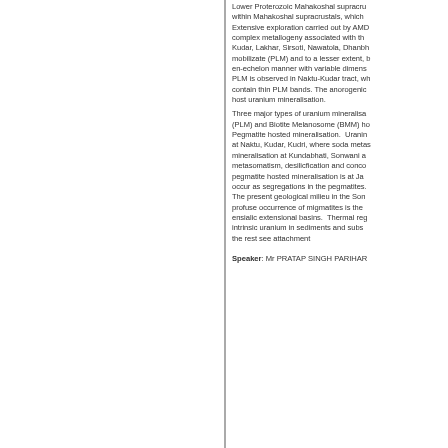Lower Proterozoic Mahakoshal supracru... within Mahakoshal supracrustals, which... Extensive exploration carried out by AMD... complex metallogeny associated with th... Kudar, Lakhar, Sirsoti, Nawatola, Dhanbh... mobilizate (PLM) and to a lesser extent, b... en-echelon manner with variable dimens... PLM is observed in Naktu-Kudar tract, wh... contain thin PLM bands. The anorogenic... host uranium mineralisation. Three major types of uranium mineralisa... (PLM) and Biotite Melanosome (BMM) ho... Pegmatite hosted mineralisation. Uranin... at Naktu, Kudar, Kudri, where soda metas... mineralisation at Kundabhati, Sonwani a... metasomatism, desilicfication and conco... pegmatite hosted mineralisation is at Ja... occur as segregations in the pegmatites. The present geological milieu in the Son... profuse occurrence of migmatites is the... ensialic extensional basins. Thermal reg... intrinsic uranium in sediments and subs... the rest see attachment
Speaker: Mr PRATAP SINGH PARIHAR